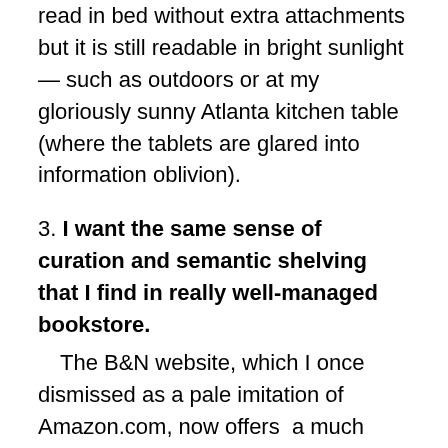read in bed without extra attachments but it is still readable in bright sunlight — such as outdoors or at my gloriously sunny Atlanta kitchen table (where the tablets are glared into information oblivion).
3. I want the same sense of curation and semantic shelving that I find in really well-managed bookstore.
The B&N website, which I once dismissed as a pale imitation of Amazon.com, now offers  a much finer granularity of information design reflecting deeper involvement with the actual content of books.  Amazon is still a handy place for me to order snorkle goggles, adult bibs for elderly relatives, air conditioner filters in multiple sizes, eyebrow pencils in colors not available in my local drugstore, exactly the right pair of hard to find slipper-socks for my daughter-in-law, but it is much less specific about categorizing books than B&N, as these browse